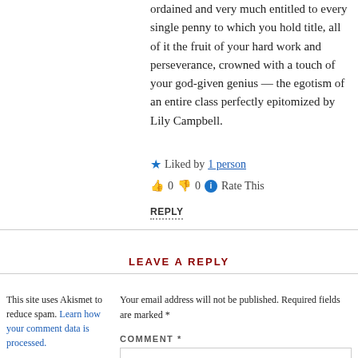ordained and very much entitled to every single penny to which you hold title, all of it the fruit of your hard work and perseverance, crowned with a touch of your god-given genius — the egotism of an entire class perfectly epitomized by Lily Campbell.
★ Liked by 1 person
👍 0 👎 0 ℹ Rate This
REPLY
LEAVE A REPLY
This site uses Akismet to reduce spam. Learn how your comment data is processed.
Your email address will not be published. Required fields are marked *
COMMENT *